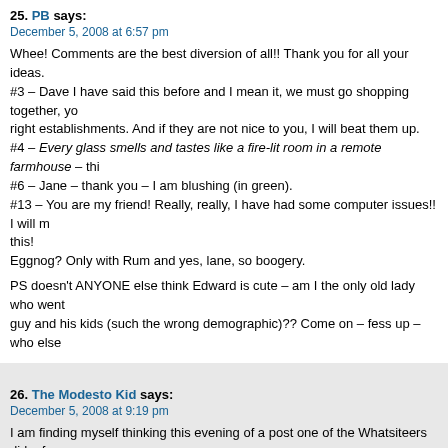25. PB says:
December 5, 2008 at 6:57 pm

Whee! Comments are the best diversion of all!! Thank you for all your ideas.
#3 – Dave I have said this before and I mean it, we must go shopping together, you know the right establishments. And if they are not nice to you, I will beat them up.
#4 – Every glass smells and tastes like a fire-lit room in a remote farmhouse – this
#6 – Jane – thank you – I am blushing (in green).
#13 – You are my friend! Really, really, I have had some computer issues!! I will m this!
Eggnog? Only with Rum and yes, lane, so boogery.

PS doesn't ANYONE else think Edward is cute – am I the only old lady who went guy and his kids (such the wrong demographic)?? Come on – fess up – who else
26. The Modesto Kid says:
December 5, 2008 at 9:19 pm

I am finding myself thinking this evening of a post one of the Whatsiteers did a few was newer to this site than I am now, about living in their house, with pictures of th California somewhere that had a lovely concrete or stone patio in the back yard a southwestern decor. Are you that person? Or do you know of which person I am th the pictures of your house because a passage I am reading just now seems sort o that location.
27. The Modesto Kid says:
December 5, 2008 at 10:40 pm

(Passage in question is at the top of my blog now, under the heading "Cinematic